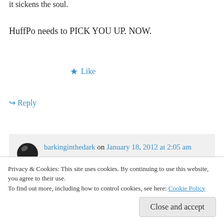it sickens the soul.
HuffPo needs to PICK YOU UP. NOW.
★ Like
↪ Reply
barkinginthedark on January 18, 2012 at 2:05 am
thank you so much lilabell, i would like that, nice that you think they should. i appreciate
Privacy & Cookies: This site uses cookies. By continuing to use this website, you agree to their use. To find out more, including how to control cookies, see here: Cookie Policy
Close and accept